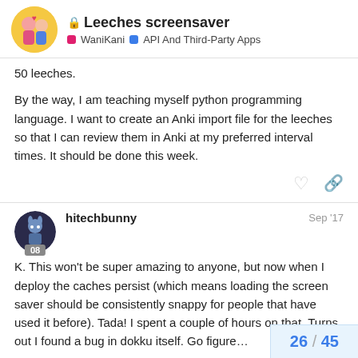Leeches screensaver | WaniKani | API And Third-Party Apps
50 leeches.
By the way, I am teaching myself python programming language. I want to create an Anki import file for the leeches so that I can review them in Anki at my preferred interval times. It should be done this week.
hitechbunny Sep '17
K. This won't be super amazing to anyone, but now when I deploy the caches persist (which means loading the screen saver should be consistently snappy for people that have used it before). Tada! I spent a couple of hours on that. Turns out I found a bug in dokku itself. Go figure…
26 / 45